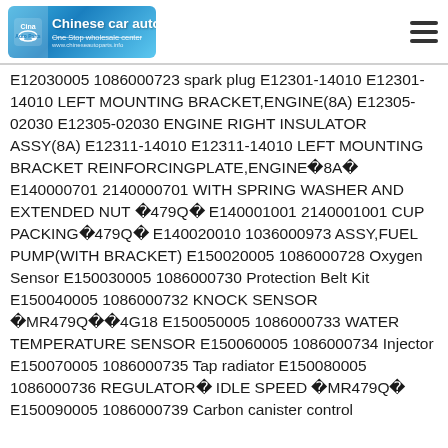Chinese car auto parts — One Stop wholesale center logo and hamburger menu
E12030005 1086000723 spark plug E12301-14010 E12301-14010 LEFT MOUNTING BRACKET,ENGINE(8A) E12305-02030 E12305-02030 ENGINE RIGHT INSULATOR ASSY(8A) E12311-14010 E12311-14010 LEFT MOUNTING BRACKET REINFORCINGPLATE,ENGINE�8A� E140000701 2140000701 WITH SPRING WASHER AND EXTENDED NUT �479Q� E140001001 2140001001 CUP PACKING�479Q� E140020010 1036000973 ASSY,FUEL PUMP(WITH BRACKET) E150020005 1086000728 Oxygen Sensor E150030005 1086000730 Protection Belt Kit E150040005 1086000732 KNOCK SENSOR �MR479Q��4G18 E150050005 1086000733 WATER TEMPERATURE SENSOR E150060005 1086000734 Injector E150070005 1086000735 Tap radiator E150080005 1086000736 REGULATOR� IDLE SPEED �MR479Q� E150090005 1086000739 Carbon canister control valve E150110005 1086000748 Pressure/temperature sensor